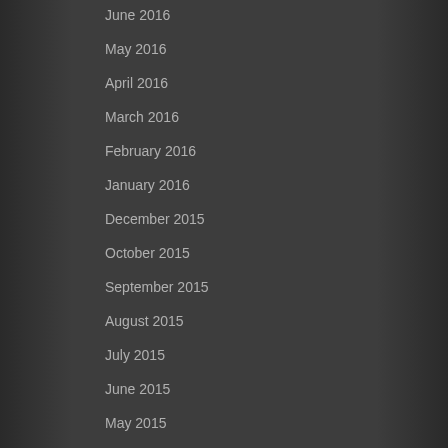June 2016
May 2016
April 2016
March 2016
February 2016
January 2016
December 2015
October 2015
September 2015
August 2015
July 2015
June 2015
May 2015
April 2015
March 2015